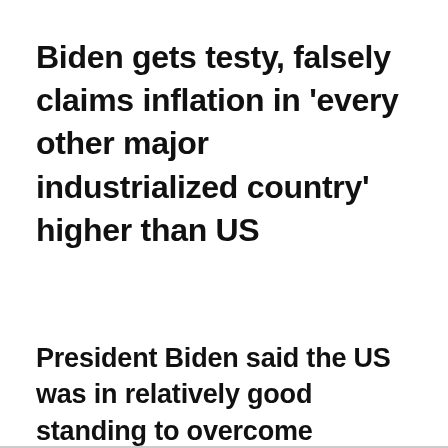Biden gets testy, falsely claims inflation in 'every other major industrialized country' higher than US
President Biden said the US was in relatively good standing to overcome